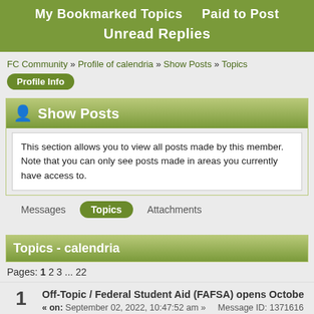My Bookmarked Topics    Paid to Post
Unread Replies
FC Community » Profile of calendria » Show Posts » Topics
Profile Info
Show Posts
This section allows you to view all posts made by this member. Note that you can only see posts made in areas you currently have access to.
Messages   Topics   Attachments
Topics - calendria
Pages: 1 2 3 ... 22
1
Off-Topic / Federal Student Aid (FAFSA) opens Octobe
« on: September 02, 2022, 10:47:52 am »   Message ID: 1371616